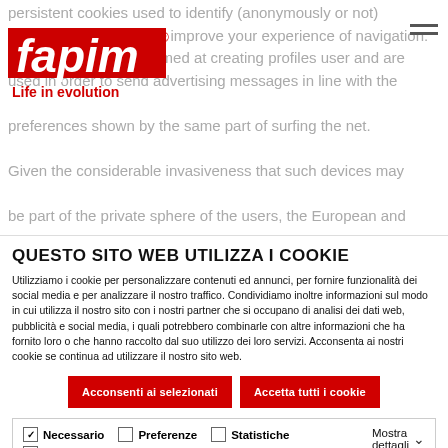[Figure (logo): Fapim logo in red with 'Life in evolution' tagline in red below]
persistent cookies used to identify (anonymously or not) improve your experience of navigation. Cookies profiling are aimed at creating profiles user and are used in order to send advertising messages in line with the preferences shown by the same part of surfing the net. Given the considerable invasiveness that such devices may be part of the private sphere of the users, the European and Italian legislation requires the user to be properly informed
QUESTO SITO WEB UTILIZZA I COOKIE
Utilizziamo i cookie per personalizzare contenuti ed annunci, per fornire funzionalità dei social media e per analizzare il nostro traffico. Condividiamo inoltre informazioni sul modo in cui utilizza il nostro sito con i nostri partner che si occupano di analisi dei dati web, pubblicità e social media, i quali potrebbero combinarle con altre informazioni che ha fornito loro o che hanno raccolto dal suo utilizzo dei loro servizi. Acconsenta ai nostri cookie se continua ad utilizzare il nostro sito web.
Acconsenti ai selezionati | Accetta tutti i cookie
Necessario  Preferenze  Statistiche  Marketing  Mostra dettagli